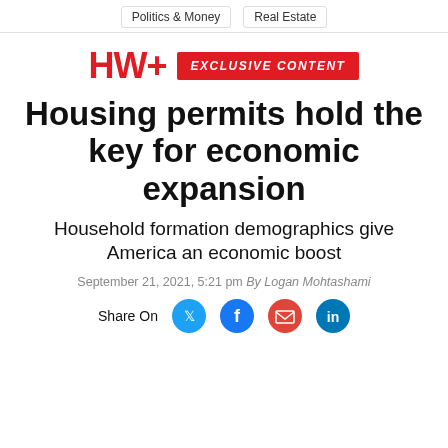Politics & Money | Real Estate
[Figure (logo): HW+ EXCLUSIVE CONTENT brand banner with red HW+ text and red badge]
Housing permits hold the key for economic expansion
Household formation demographics give America an economic boost
September 21, 2021, 5:21 pm By Logan Mohtashami
Share On [Twitter] [Facebook] [Email] [LinkedIn]